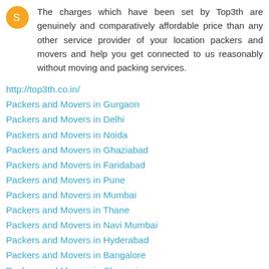The charges which have been set by Top3th are genuinely and comparatively affordable price than any other service provider of your location packers and movers and help you get connected to us reasonably without moving and packing services.
http://top3th.co.in/
Packers and Movers in Gurgaon
Packers and Movers in Delhi
Packers and Movers in Noida
Packers and Movers in Ghaziabad
Packers and Movers in Faridabad
Packers and Movers in Pune
Packers and Movers in Mumbai
Packers and Movers in Thane
Packers and Movers in Navi Mumbai
Packers and Movers in Hyderabad
Packers and Movers in Bangalore
Packers and Movers in Chennai
Reply